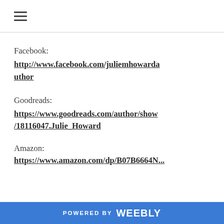≡
Facebook:
http://www.facebook.com/juliemhowardauthor
Goodreads:
https://www.goodreads.com/author/show/18116047.Julie_Howard
Amazon:
https://www.amazon.com/dp/B07B6664N...
POWERED BY weebly